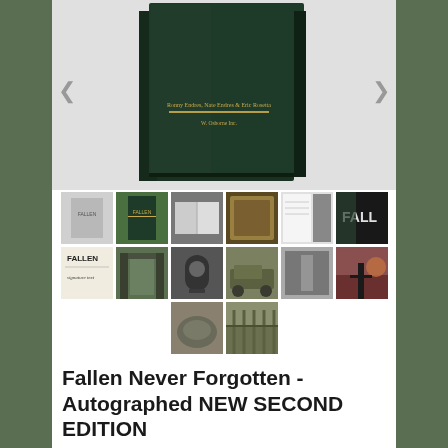[Figure (photo): Dark green hardcover book titled 'Fallen Never Forgotten' with authors listed: Ronny Endres, Nate Endres & Eric Rosetta, published by W. Osborne Inc.]
[Figure (photo): Grid of 14 thumbnail images showing various photos related to the book — cover images, memorial walls, military scenes, nature shots, and interior pages.]
Fallen Never Forgotten - Autographed NEW SECOND EDITION